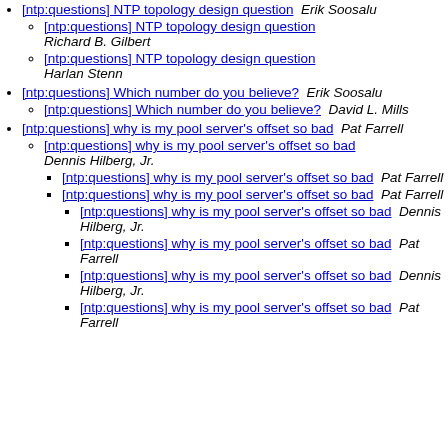[ntp:questions] NTP topology design question  Erik Soosalu
[ntp:questions] NTP topology design question  Richard B. Gilbert
[ntp:questions] NTP topology design question  Harlan Stenn
[ntp:questions] Which number do you believe?  Erik Soosalu
[ntp:questions] Which number do you believe?  David L. Mills
[ntp:questions] why is my pool server's offset so bad  Pat Farrell
[ntp:questions] why is my pool server's offset so bad  Dennis Hilberg, Jr.
[ntp:questions] why is my pool server's offset so bad  Pat Farrell
[ntp:questions] why is my pool server's offset so bad  Pat Farrell
[ntp:questions] why is my pool server's offset so bad  Dennis Hilberg, Jr.
[ntp:questions] why is my pool server's offset so bad  Pat Farrell
[ntp:questions] why is my pool server's offset so bad  Dennis Hilberg, Jr.
[ntp:questions] why is my pool server's offset so bad  Pat Farrell